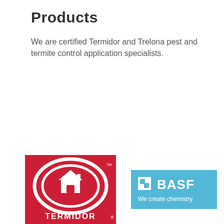Products
We are certified Termidor and Trelona pest and termite control application specialists.
[Figure (logo): Termidor brand logo — white oval outline with house icon and TERMIDOR text on a red background]
[Figure (logo): BASF logo — white square icon, white BASF text, and 'We create chemistry' tagline on a light blue background]